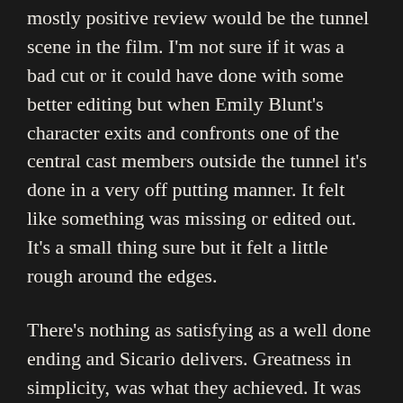mostly positive review would be the tunnel scene in the film. I'm not sure if it was a bad cut or it could have done with some better editing but when Emily Blunt's character exits and confronts one of the central cast members outside the tunnel it's done in a very off putting manner. It felt like something was missing or edited out. It's a small thing sure but it felt a little rough around the edges.
There's nothing as satisfying as a well done ending and Sicario delivers. Greatness in simplicity, was what they achieved. It was filled with truth , sadness and reveals perfectly the quality of it all.